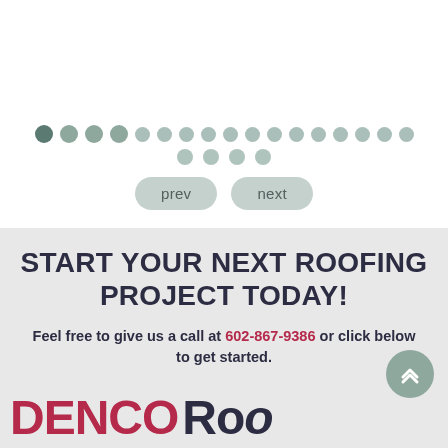[Figure (screenshot): A row of navigation dots (pagination indicators) — the first dot is darker/active, followed by many lighter dots, with a second partial row of dots below. Two pill-shaped buttons labeled 'prev' and 'next' appear below the dots.]
START YOUR NEXT ROOFING PROJECT TODAY!
Feel free to give us a call at 602-867-9386 or click below to get started.
[Figure (logo): DENCO Roofing logo — 'DENCO' in bold red letters, followed by 'Roo...' in dark navy/charcoal, partially cropped.]